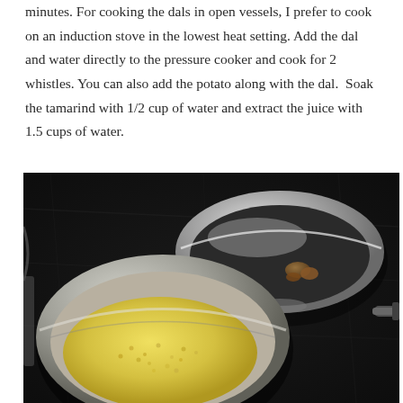minutes. For cooking the dals in open vessels, I prefer to cook on an induction stove in the lowest heat setting. Add the dal and water directly to the pressure cooker and cook for 2 whistles. You can also add the potato along with the dal.  Soak the tamarind with 1/2 cup of water and extract the juice with 1.5 cups of water.
[Figure (photo): Photo showing two stainless steel bowls on a dark granite countertop. The upper bowl (smaller, polished stainless steel) contains a small piece of tamarind. The lower bowl (larger, aluminum/stainless) contains yellow lentil dal (split yellow moong or toor dal). A pan handle is visible on the right side.]